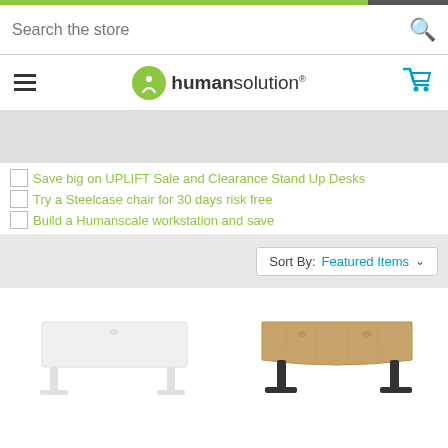Search the store
[Figure (logo): Human Solution logo with green circle icon and text 'human solution', hamburger menu on left, cart icon on right]
[Figure (other): Gray promotional banner background area]
Save big on UPLIFT Sale and Clearance Stand Up Desks
Try a Steelcase chair for 30 days risk free
Build a Humanscale workstation and save
Sort By: Featured Items
[Figure (photo): White standing desk with white legs, top-down angled view]
[Figure (photo): Wood-top standing desk with black legs, top-down angled view]